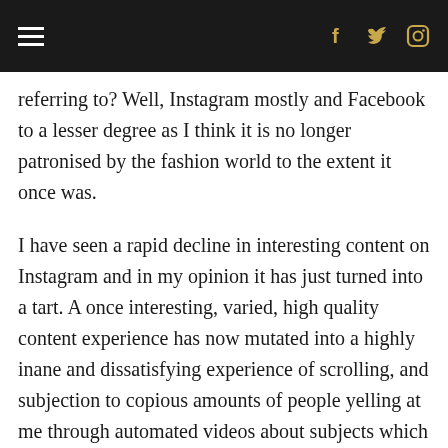≡  f  🐦  📷
referring to? Well, Instagram mostly and Facebook to a lesser degree as I think it is no longer patronised by the fashion world to the extent it once was.
I have seen a rapid decline in interesting content on Instagram and in my opinion it has just turned into a tart. A once interesting, varied, high quality content experience has now mutated into a highly inane and dissatisfying experience of scrolling, and subjection to copious amounts of people yelling at me through automated videos about subjects which hold no interest or connection to my account. Advertisements that I spend my life trying to lessen (when I can be